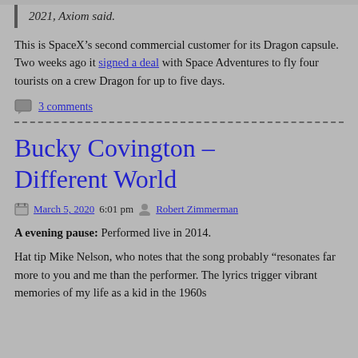2021, Axiom said.
This is SpaceX’s second commercial customer for its Dragon capsule. Two weeks ago it signed a deal with Space Adventures to fly four tourists on a crew Dragon for up to five days.
3 comments
Bucky Covington – Different World
March 5, 2020 6:01 pm  Robert Zimmerman
A evening pause: Performed live in 2014.
Hat tip Mike Nelson, who notes that the song probably “resonates far more to you and me than the performer. The lyrics trigger vibrant memories of my life as a kid in the 1960s